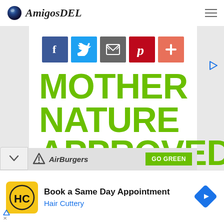[Figure (logo): AmigosDEL logo with blue sphere and italic bold text]
[Figure (infographic): Social sharing buttons: Facebook (blue), Twitter (light blue), Email (gray), Pinterest (red), Plus (orange-red)]
[Figure (infographic): Advertisement banner: MOTHER NATURE APPROVED in large green bold text on white background, with AirBurgers logo and GO GREEN button at bottom]
[Figure (infographic): Bottom advertisement: Hair Cuttery - Book a Same Day Appointment, with HC logo and navigation arrow icon]